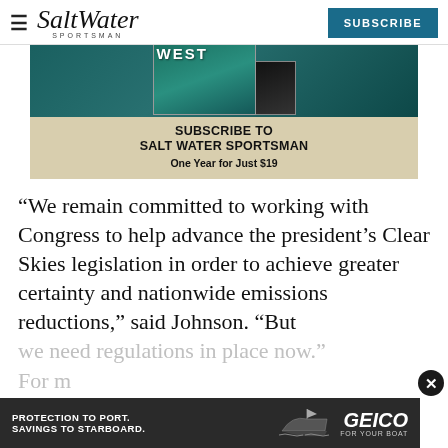Salt Water Sportsman | SUBSCRIBE
[Figure (other): Salt Water Sportsman magazine subscription advertisement showing a magazine cover with WEST theme and teal background. Text: SUBSCRIBE TO SALT WATER SPORTSMAN One Year for Just $19]
“We remain committed to working with Congress to help advance the president’s Clear Skies legislation in order to achieve greater certainty and nationwide emissions reductions,” said Johnson. “But we need regulations in place now.”
For m
[Figure (other): GEICO boat insurance advertisement. Text: PROTECTION TO PORT. SAVINGS TO STARBOARD. GEICO FOR YOUR BOAT. Shows a boat silhouette.]